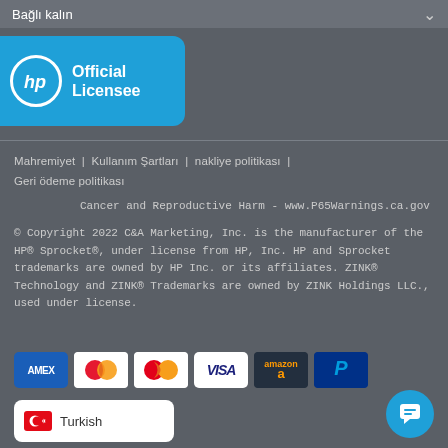Bağlı kalın
[Figure (logo): HP Official Licensee badge with HP logo circle on blue rounded rectangle background]
Mahremiyet | Kullanım Şartları | nakliye politikası | Geri ödeme politikası
Cancer and Reproductive Harm - www.P65Warnings.ca.gov
© Copyright 2022 C&A Marketing, Inc. is the manufacturer of the HP® Sprocket®, under license from HP, Inc. HP and Sprocket trademarks are owned by HP Inc. or its affiliates. ZINK® Technology and ZINK® Trademarks are owned by ZINK Holdings LLC., used under license.
[Figure (logo): Payment method icons: AMEX, Maestro, Mastercard, VISA, Amazon Pay, PayPal]
Turkish (language selector with Turkish flag)